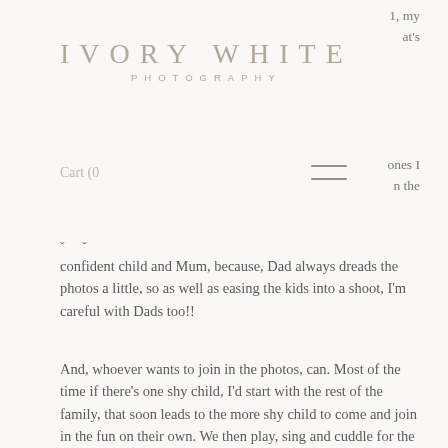1, my
at's
IVORY WHITE
PHOTOGRAPHY
Cart (0
[Figure (other): Hamburger menu icon (two horizontal lines)]
ones I
n the
confident child and Mum, because, Dad always dreads the photos a little, so as well as easing the kids into a shoot, I'm careful with Dads too!!
And, whoever wants to join in the photos, can. Most of the time if there's one shy child, I'd start with the rest of the family, that soon leads to the more shy child to come and join in the fun on their own. We then play, sing and cuddle for the entire shoot, making it